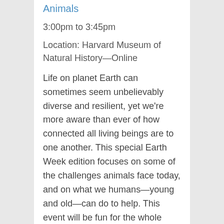Animals
3:00pm to 3:45pm
Location: Harvard Museum of Natural History—Online
Life on planet Earth can sometimes seem unbelievably diverse and resilient, yet we're more aware than ever of how connected all living beings are to one another. This special Earth Week edition focuses on some of the challenges animals face today, and on what we humans—young and old—can do to help. This event will be fun for the whole family so bring your questions and